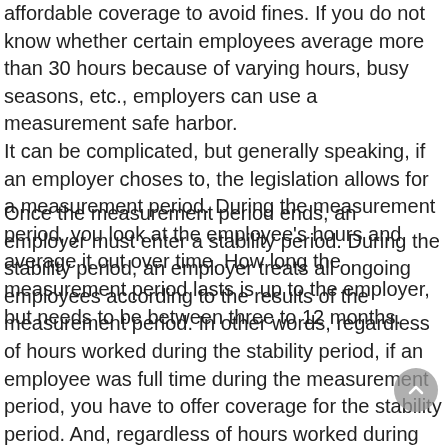affordable coverage to avoid fines. If you do not know whether certain employees average more than 30 hours because of varying hours, busy seasons, etc., employers can use a measurement safe harbor.
It can be complicated, but generally speaking, if an employer choses to, the legislation allows for a measurement period. During the measurement period, you look at the employee's hours and average it out over time. How long the measurement period lasts is up to the employer, but needs to be between three to 12 months.
Once the measurement period ends, an employer must enter a stability period. During the stability period, an employer treats all ongoing employees according to the results of the measurement period. In other words, regardless of hours worked during the stability period, if an employee was full time during the measurement period, you have to offer coverage for the stability period. And, regardless of hours worked during the stability period, if an employee averaged below 30 h...